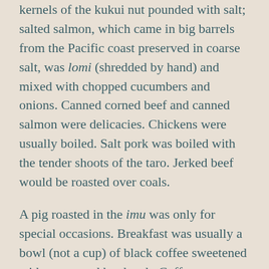kernels of the kukui nut pounded with salt; salted salmon, which came in big barrels from the Pacific coast preserved in coarse salt, was lomi (shredded by hand) and mixed with chopped cucumbers and onions. Canned corned beef and canned salmon were delicacies. Chickens were usually boiled. Salt pork was boiled with the tender shoots of the taro. Jerked beef would be roasted over coals.
A pig roasted in the imu was only for special occasions. Breakfast was usually a bowl (not a cup) of black coffee sweetened with sugar, and hard tack. Coffee grew wild in Waipi'o and people had all they wanted for the picking. The beans were dried in the sun and roasted in an iron skillet.
I was told that in the old days before the coming of kettles, they would boil meat by putting hot stones in a wooden calabash along with the meat wrapped in ti leaves, and